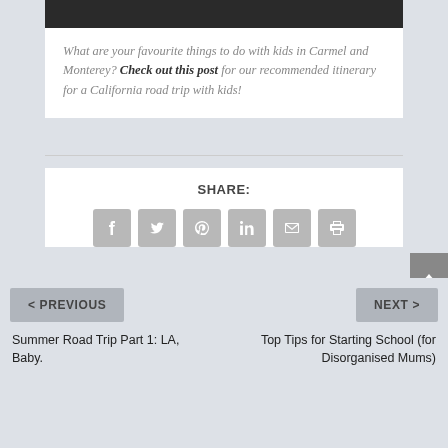[Figure (photo): Dark photo strip at the top of the card]
What are your favourite things to do with kids in Carmel and Monterey? Check out this post for our recommended itinerary for a California road trip with kids!
SHARE:
[Figure (infographic): Row of social share icons: Facebook, Twitter, Pinterest, LinkedIn, Email, Print]
< PREVIOUS
NEXT >
Summer Road Trip Part 1: LA, Baby.
Top Tips for Starting School (for Disorganised Mums)